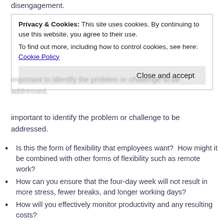disengagement.
Privacy & Cookies: This site uses cookies. By continuing to use this website, you agree to their use.
To find out more, including how to control cookies, see here: Cookie Policy
Close and accept
important to identify the problem or challenge to be addressed.
Is this the form of flexibility that employees want?  How might it be combined with other forms of flexibility such as remote work?
How can you ensure that the four-day week will not result in more stress, fewer breaks, and longer working days?
How will you effectively monitor productivity and any resulting costs?
What mechanisms can you establish to take feedback from employees, managers, customers and stakeholders?
What policies and guidance will you need to issue to employees to ensure effective implementation?